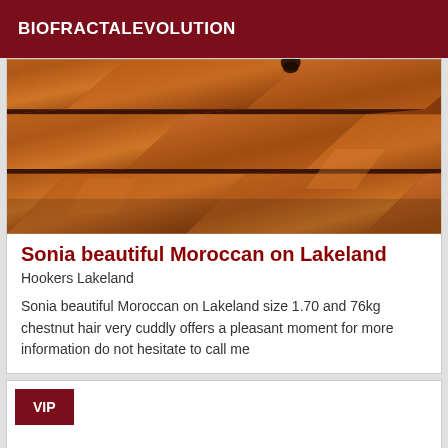BIOFRACTALEVOLUTION
[Figure (photo): Photo of wooden floor with diagonal planks in warm orange-brown tones, with a small dark cat silhouette visible at the top]
Sonia beautiful Moroccan on Lakeland
Hookers Lakeland
Sonia beautiful Moroccan on Lakeland size 1.70 and 76kg chestnut hair very cuddly offers a pleasant moment for more information do not hesitate to call me
VIP